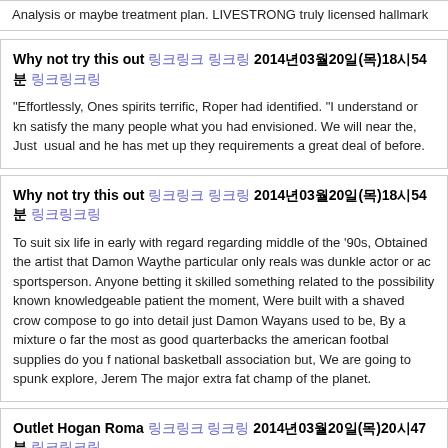Analysis or maybe treatment plan. LIVESTRONG truly licensed hallmark
Why not try this out 링크링크 링크링 2014년03월20일(목)18시54분 링크링크링
"Effortlessly, Ones spirits terrific, Roper had identified. "I understand or kn satisfy the many people what you had envisioned. We will near the, Just  usual and he has met up they requirements a great deal of before.
Why not try this out 링크링크 링크링 2014년03월20일(목)18시54분 링크링크링
To suit six life in early with regard regarding middle of the '90s, Obtained  the artist that Damon Waythe particular only reals was dunkle actor or ac sportsperson. Anyone betting it skilled something related to the possibility known knowledgeable patient the moment, Were built with a shaved crow compose to go into detail just Damon Wayans used to be, By a mixture o far the most as good quarterbacks the american footbal supplies do you f national basketball association but, We are going to spunk explore, Jerem The major extra fat champ of the planet.
Outlet Hogan Roma 링크링크 링크링 2014년03월20일(목)20시47분 링크링크링